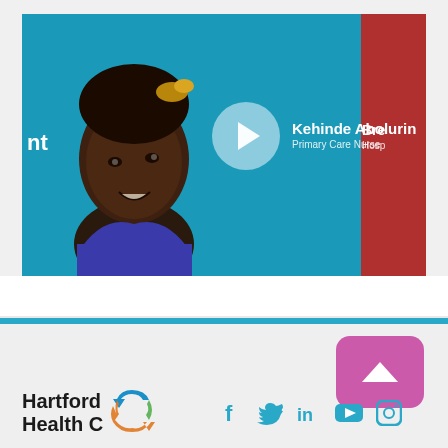[Figure (screenshot): Video thumbnail showing a smiling Black woman in a blue polo shirt against a teal background. A play button circle is overlaid in the center. Text overlay reads 'Kehinde Abolurin, Primary Care Nurse'. A red bar on the right shows partial text 'Bre' and 'Hosp'. Partial text 'nt' appears on the left edge.]
[Figure (logo): Hartford HealthCare logo with stylized recycling-arrow icon in blue, green, and orange colors, and bold text 'Hartford' and 'Health C...' below]
[Figure (infographic): Social media icons row: Facebook (f), Twitter (bird), LinkedIn (in), YouTube (play), Instagram (camera) — all in teal/cyan color]